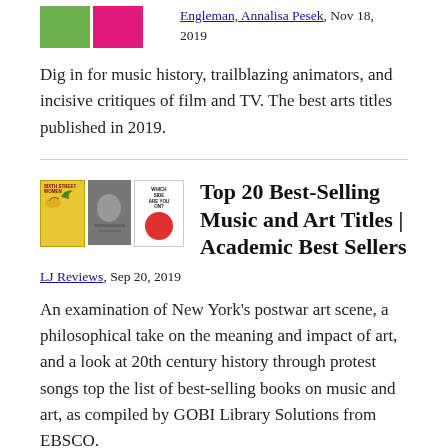[Figure (illustration): Two colored book thumbnail images (green and pink/magenta) partially visible at top left]
Engleman, Annalisa Pesek, Nov 18, 2019
Dig in for music history, trailblazing animators, and incisive critiques of film and TV. The best arts titles published in 2019.
[Figure (illustration): Three book cover thumbnails: yellow book with bird illustration, gray/photo book, white book with red circle design]
Top 20 Best-Selling Music and Art Titles | Academic Best Sellers
LJ Reviews, Sep 20, 2019
An examination of New York's postwar art scene, a philosophical take on the meaning and impact of art, and a look at 20th century history through protest songs top the list of best-selling books on music and art, as compiled by GOBI Library Solutions from EBSCO.